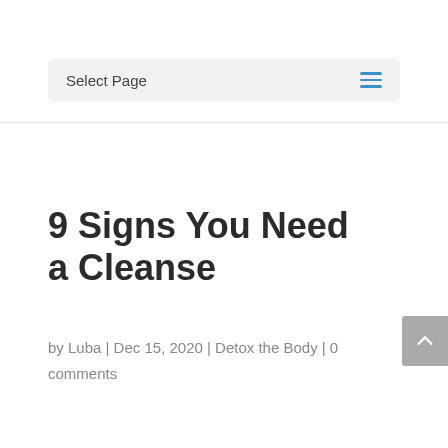Select Page
9 Signs You Need a Cleanse
by Luba | Dec 15, 2020 | Detox the Body | 0 comments